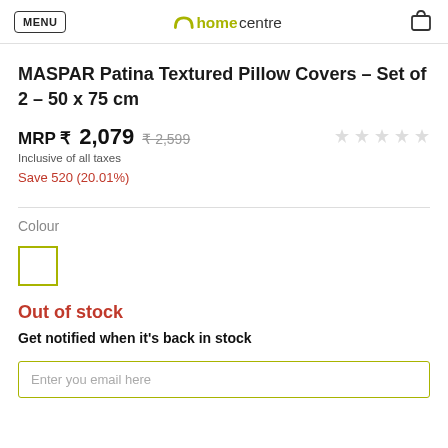MENU | homecentre
MASPAR Patina Textured Pillow Covers – Set of 2 – 50 x 75 cm
MRP ₹ 2,079  ₹ 2,599  Inclusive of all taxes
Save 520 (20.01%)
Colour
Out of stock
Get notified when it's back in stock
Enter you email here